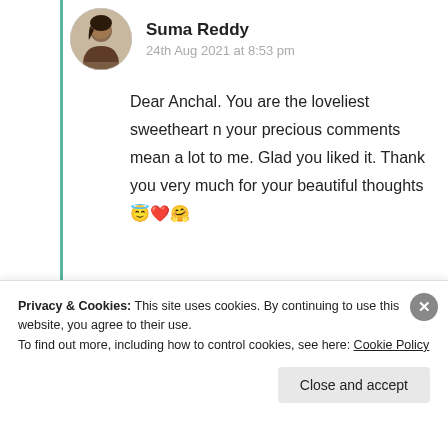[Figure (photo): Circular avatar photo of a woman with dark hair]
Suma Reddy
24th Aug 2021 at 8:53 pm
Dear Anchal. You are the loveliest sweetheart n your precious comments mean a lot to me. Glad you liked it. Thank you very much for your beautiful thoughts 😇❤️🤗
★ Liked by 1 person
Log in to Reply
Privacy & Cookies: This site uses cookies. By continuing to use this website, you agree to their use.
To find out more, including how to control cookies, see here: Cookie Policy
Close and accept